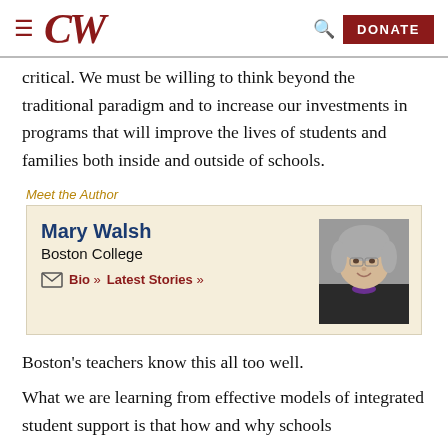CW — [hamburger menu] [search] [DONATE]
critical. We must be willing to think beyond the traditional paradigm and to increase our investments in programs that will improve the lives of students and families both inside and outside of schools.
[Figure (other): Meet the Author box featuring Mary Walsh from Boston College, with links to Bio and Latest Stories, and a portrait photo of Mary Walsh.]
Boston’s teachers know this all too well.
What we are learning from effective models of integrated student support is that how and why schools